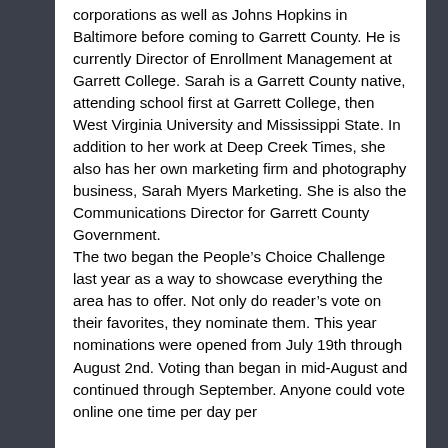corporations as well as Johns Hopkins in Baltimore before coming to Garrett County. He is currently Director of Enrollment Management at Garrett College. Sarah is a Garrett County native, attending school first at Garrett College, then West Virginia University and Mississippi State. In addition to her work at Deep Creek Times, she also has her own marketing firm and photography business, Sarah Myers Marketing. She is also the Communications Director for Garrett County Government.
The two began the People's Choice Challenge last year as a way to showcase everything the area has to offer. Not only do reader's vote on their favorites, they nominate them. This year nominations were opened from July 19th through August 2nd. Voting than began in mid-August and continued through September. Anyone could vote online one time per day per